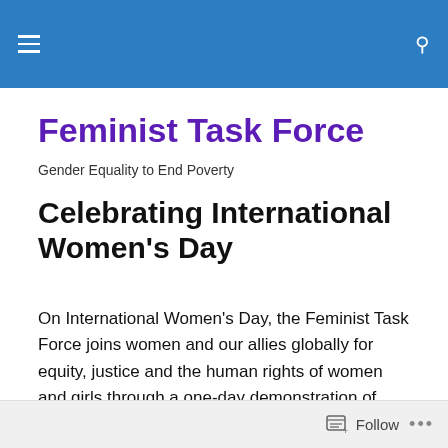Feminist Task Force — navigation header bar
Feminist Task Force
Gender Equality to End Poverty
Celebrating International Women's Day
On International Women's Day, the Feminist Task Force joins women and our allies globally for equity, justice and the human rights of women and girls through a one-day demonstration of economic solidarity.
Follow